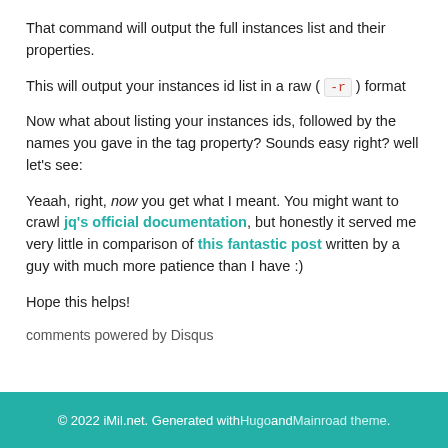That command will output the full instances list and their properties.
This will output your instances id list in a raw ( -r ) format
Now what about listing your instances ids, followed by the names you gave in the tag property? Sounds easy right? well let's see:
Yeaah, right, now you get what I meant. You might want to crawl jq's official documentation, but honestly it served me very little in comparison of this fantastic post written by a guy with much more patience than I have :)
Hope this helps!
comments powered by Disqus
© 2022 iMil.net. Generated with Hugo and Mainroad theme.